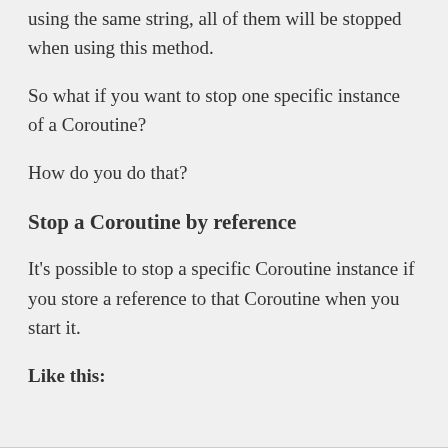if, however, you've started multiple Coroutines using the same string, all of them will be stopped when using this method.
So what if you want to stop one specific instance of a Coroutine?
How do you do that?
Stop a Coroutine by reference
It's possible to stop a specific Coroutine instance if you store a reference to that Coroutine when you start it.
Like this: